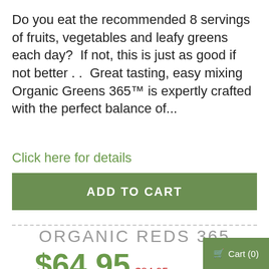Do you eat the recommended 8 servings of fruits, vegetables and leafy greens each day?  If not, this is just as good if not better . .  Great tasting, easy mixing Organic Greens 365™ is expertly crafted with the perfect balance of...
Click here for details
ADD TO CART
ORGANIC REDS 365
$64.95  $84.95
Cart (0)